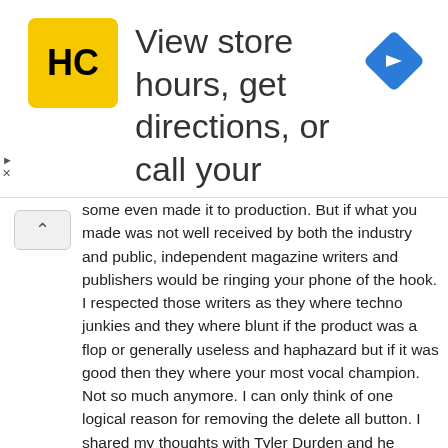[Figure (other): Advertisement banner with HC logo (yellow square with black HC letters) and blue diamond navigation icon. Text: 'View store hours, get directions, or call your salon!']
some even made it to production. But if what you made was not well received by both the industry and public, independent magazine writers and publishers would be ringing your phone of the hook. I respected those writers as they where techno junkies and they where blunt if the product was a flop or generally useless and haphazard but if it was good then they where your most vocal champion. Not so much anymore. I can only think of one logical reason for removing the delete all button. I shared my thoughts with Tyler Durden and he agreed.
Reply
JS
November 7, 2016
Oh and just to add, iTunes has become a laughing stock joke also.
Reply